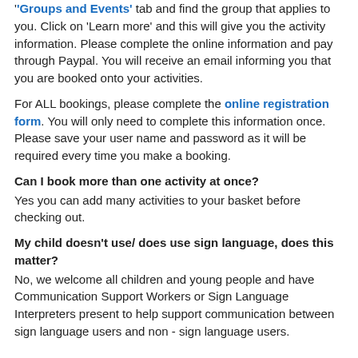Please book activities and events online. Simply go to the 'Groups and Events' tab and find the group that applies to you. Click on 'Learn more' and this will give you the activity information. Please complete the online information and pay through Paypal. You will receive an email informing you that you are booked onto your activities.
For ALL bookings, please complete the online registration form. You will only need to complete this information once. Please save your user name and password as it will be required every time you make a booking.
Can I book more than one activity at once?
Yes you can add many activities to your basket before checking out.
My child doesn't use/ does use sign language, does this matter?
No, we welcome all children and young people and have Communication Support Workers or Sign Language Interpreters present to help support communication between sign language users and non - sign language users.